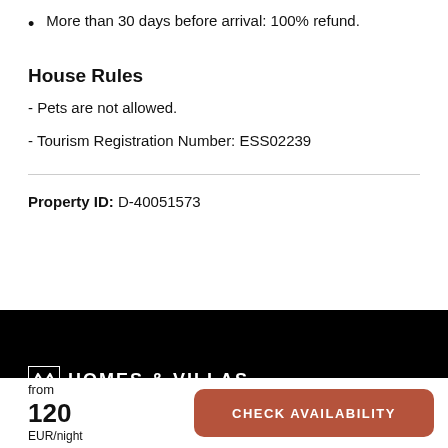More than 30 days before arrival: 100% refund.
House Rules
- Pets are not allowed.
- Tourism Registration Number: ESS02239
Property ID: D-40051573
[Figure (logo): Homes & Villas logo with stylized M icon on black background]
from
120
EUR/night
CHECK AVAILABILITY